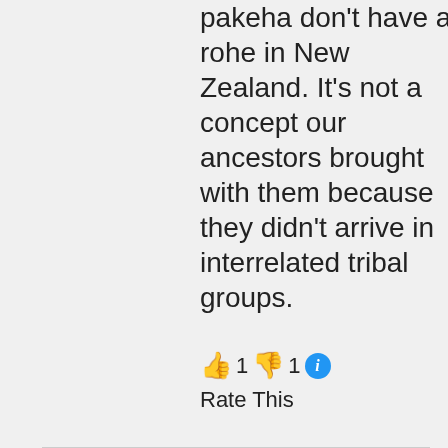pakeha don't have a rohe in New Zealand. It's not a concept our ancestors brought with them because they didn't arrive in interrelated tribal groups.
👍 1 👎 1 ℹ Rate This